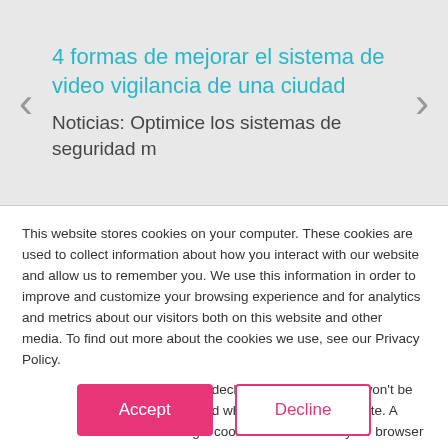4 formas de mejorar el sistema de video vigilancia de una ciudad
Noticias: Optimice los sistemas de seguridad m
This website stores cookies on your computer. These cookies are used to collect information about how you interact with our website and allow us to remember you. We use this information in order to improve and customize your browsing experience and for analytics and metrics about our visitors both on this website and other media. To find out more about the cookies we use, see our Privacy Policy.
If you decline, your information won't be tracked when you visit this website. A single cookie will be used in your browser to remember your preference not to be tracked.
Accept
Decline